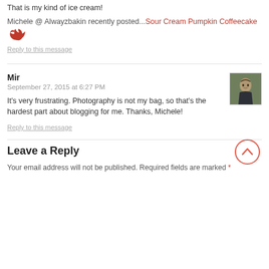That is my kind of ice cream!
Michele @ Alwayzbakin recently posted…Sour Cream Pumpkin Coffeecake
Reply to this message
Mir
September 27, 2015 at 6:27 PM
It's very frustrating. Photography is not my bag, so that's the hardest part about blogging for me. Thanks, Michele!
Reply to this message
Leave a Reply
Your email address will not be published. Required fields are marked *